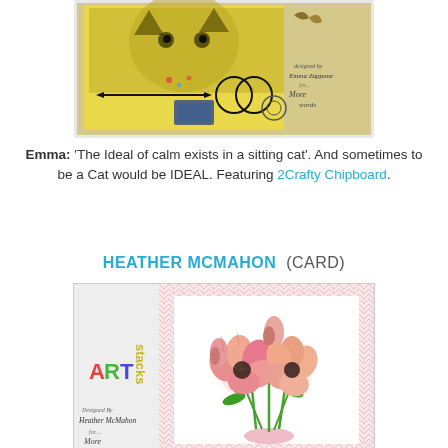[Figure (photo): Artwork card by Emma Zappone featuring a cat with steampunk/arrow elements on a yellow background, with handwritten signature 'designed by Emma Zappone for More Words']
Emma: 'The Ideal of calm exists in a sitting cat'. And sometimes to be a Cat would be IDEAL. Featuring 2Crafty Chipboard.
HEATHER MCMAHON (CARD)
[Figure (photo): Card by Heather McMahon featuring floral bouquet with pink and peach flowers on a zigzag patterned background, with ARTstacks branding and handwritten signature 'Designed By Heather McMahon for More...']